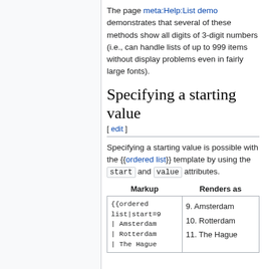The page meta:Help:List demo demonstrates that several of these methods show all digits of 3-digit numbers (i.e., can handle lists of up to 999 items without display problems even in fairly large fonts).
Specifying a starting value
[ edit ]
Specifying a starting value is possible with the {{ordered list}} template by using the start and value attributes.
| Markup | Renders as |
| --- | --- |
| {{ordered list|start=9
| Amsterdam
| Rotterdam
| The Hague | 9. Amsterdam
10. Rotterdam
11. The Hague |